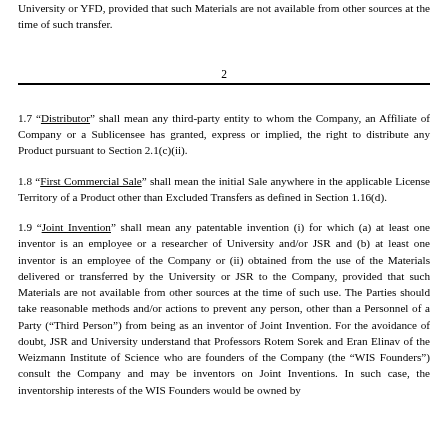University or YFD, provided that such Materials are not available from other sources at the time of such transfer.
2
1.7 “Distributor” shall mean any third-party entity to whom the Company, an Affiliate of Company or a Sublicensee has granted, express or implied, the right to distribute any Product pursuant to Section 2.1(c)(ii).
1.8 “First Commercial Sale” shall mean the initial Sale anywhere in the applicable License Territory of a Product other than Excluded Transfers as defined in Section 1.16(d).
1.9 “Joint Invention” shall mean any patentable invention (i) for which (a) at least one inventor is an employee or a researcher of University and/or JSR and (b) at least one inventor is an employee of the Company or (ii) obtained from the use of the Materials delivered or transferred by the University or JSR to the Company, provided that such Materials are not available from other sources at the time of such use. The Parties should take reasonable methods and/or actions to prevent any person, other than a Personnel of a Party (“Third Person”) from being as an inventor of Joint Invention. For the avoidance of doubt, JSR and University understand that Professors Rotem Sorek and Eran Elinav of the Weizmann Institute of Science who are founders of the Company (the “WIS Founders”) consult the Company and may be inventors on Joint Inventions. In such case, the inventorship interests of the WIS Founders would be owned by